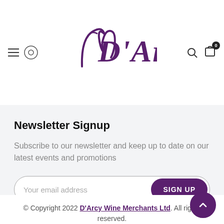[Figure (logo): D'Arcy handwritten purple script logo in the center of the header, with hamburger menu and lululemon icon on the left, search and cart icons on the right with badge showing 0]
Newsletter Signup
Subscribe to our newsletter and keep up to date on our latest events and promotions
Your email address [SIGN UP button]
© Copyright 2022 D'Arcy Wine Merchants Ltd. All rights reserved. | Delivery & Returns | About Us | Terms & Conditions | Contact Us